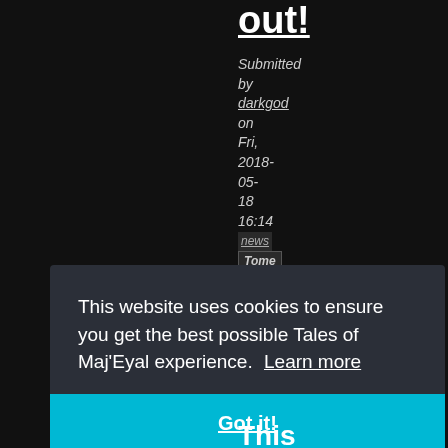out!
Submitted by darkgod on Fri, 2018-05-18 16:14 news Tome
My minions,
This website uses cookies to ensure you get the best possible Tales of Maj'Eyal experience.  Learn more
Got it!
This